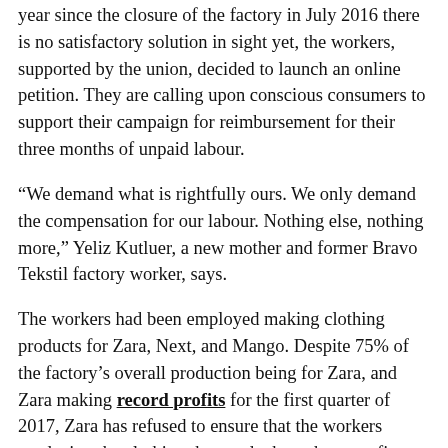year since the closure of the factory in July 2016 there is no satisfactory solution in sight yet, the workers, supported by the union, decided to launch an online petition. They are calling upon conscious consumers to support their campaign for reimbursement for their three months of unpaid labour.
“We demand what is rightfully ours. We only demand the compensation for our labour. Nothing else, nothing more,” Yeliz Kutluer, a new mother and former Bravo Tekstil factory worker, says.
The workers had been employed making clothing products for Zara, Next, and Mango. Despite 75% of the factory’s overall production being for Zara, and Zara making record profits for the first quarter of 2017, Zara has refused to ensure that the workers producing the clothing that made them those profits were fully compensated for their labour. Next and Mango have also refused to take responsibility for all 140 Bravo Tekstil workers who are now left with nothing. The amount the workers are asking for is 2,739,281.30 Turkish Lira (about 650,000 euros), which in case of Inditex’s, Zara’s parent company, constitutes less than 0.01% of net sales for only the first quarter of 2017.
“Brands are principal employers. They have proven time and again that they control every aspect of their orders to their suppliers.